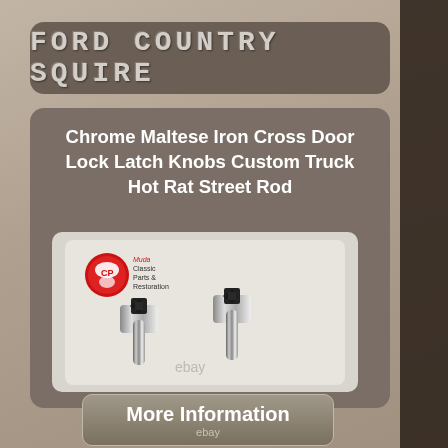FORD COUNTRY SQUIRE
Chrome Maltese Iron Cross Door Lock Latch Knobs Custom Truck Hot Rat Street Rod
[Figure (photo): Two chrome door lock knobs with Maltese Iron Cross design on top, shown on white background with Muda Classic Parts & Restoration logo and eBay watermark]
More Information
ebay